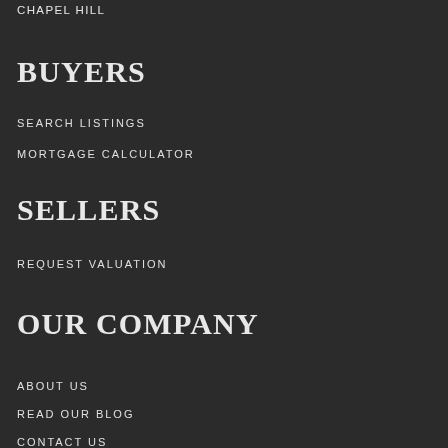CHAPEL HILL
BUYERS
SEARCH LISTINGS
MORTGAGE CALCULATOR
SELLERS
REQUEST VALUATION
OUR COMPANY
ABOUT US
READ OUR BLOG
CONTACT US